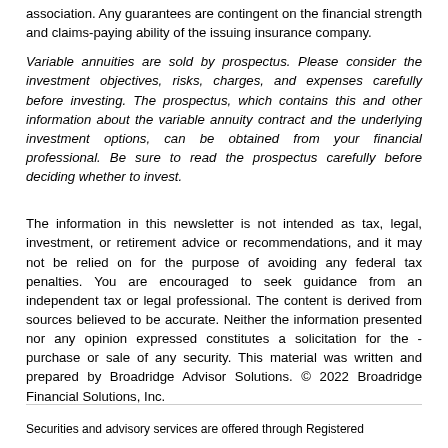association. Any guarantees are contingent on the financial strength and claims-paying ability of the issuing insurance company.
Variable annuities are sold by prospectus. Please consider the investment objectives, risks, charges, and expenses carefully before investing. The prospectus, which contains this and other information about the variable annuity contract and the underlying investment options, can be obtained from your financial professional. Be sure to read the prospectus carefully before deciding whether to invest.
The information in this newsletter is not intended as tax, legal, investment, or retirement advice or recommendations, and it may not be relied on for the purpose of avoiding any federal tax penalties. You are encouraged to seek guidance from an independent tax or legal professional. The content is derived from sources believed to be accurate. Neither the information presented nor any opinion expressed constitutes a solicitation for the - purchase or sale of any security. This material was written and prepared by Broadridge Advisor Solutions. © 2022 Broadridge Financial Solutions, Inc.
Securities and advisory services are offered through Registered